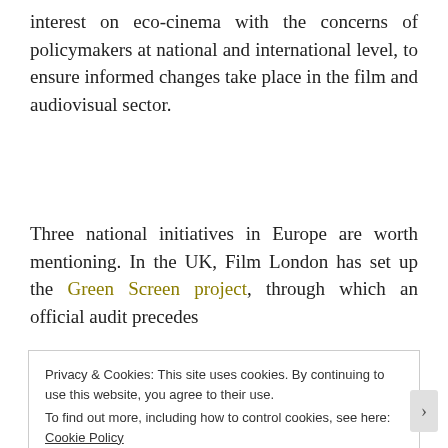interest on eco-cinema with the concerns of policymakers at national and international level, to ensure informed changes take place in the film and audiovisual sector.
Three national initiatives in Europe are worth mentioning. In the UK, Film London has set up the Green Screen project, through which an official audit precedes
Privacy & Cookies: This site uses cookies. By continuing to use this website, you agree to their use.
To find out more, including how to control cookies, see here: Cookie Policy
Close and accept